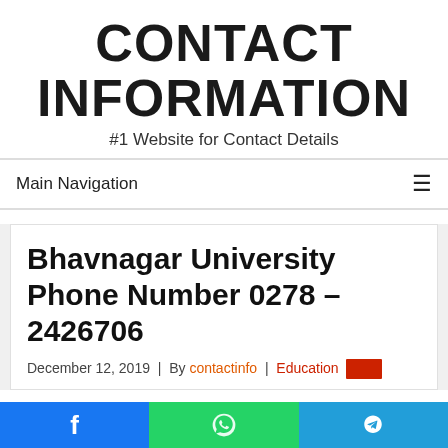CONTACT INFORMATION
#1 Website for Contact Details
Main Navigation
Bhavnagar University Phone Number 0278 – 2426706
December 12, 2019  |  By contactinfo  |  Education